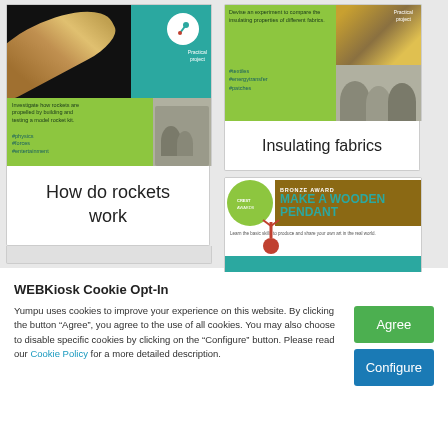[Figure (screenshot): Screenshot of educational resource cards: 'How do rockets work' practical project card with rocket image, green band, hashtags #physics #forces #entertainment]
How do rockets work
[Figure (screenshot): Screenshot of educational resource card: 'Insulating fabrics' practical project with fabric image and hashtags #textiles #energytransfer #patches]
Insulating fabrics
[Figure (screenshot): CREST Awards Bronze Award card: Make a wooden pendant]
WEBKiosk Cookie Opt-In
Yumpu uses cookies to improve your experience on this website. By clicking the button “Agree”, you agree to the use of all cookies. You may also choose to disable specific cookies by clicking on the “Configure” button. Please read our Cookie Policy for a more detailed description.